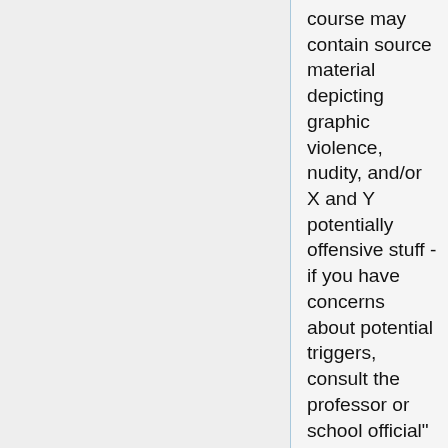course may contain source material depicting graphic violence, nudity, and/or X and Y potentially offensive stuff - if you have concerns about potential triggers, consult the professor or school official" or similar that could be added into every single syllabus as boilerplate legal language (possibly customized a teeny bit) - it shouldn't be a significant burden on any individual professor - most of them have a